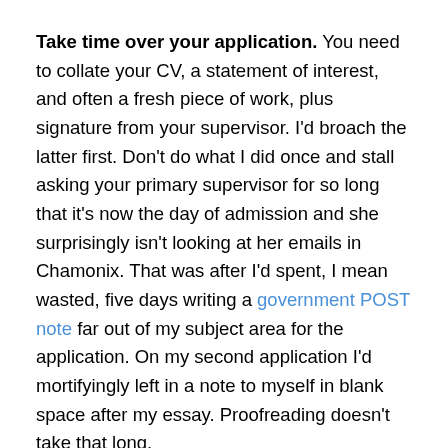Take time over your application. You need to collate your CV, a statement of interest, and often a fresh piece of work, plus signature from your supervisor. I'd broach the latter first. Don't do what I did once and stall asking your primary supervisor for so long that it's now the day of admission and she surprisingly isn't looking at her emails in Chamonix. That was after I'd spent, I mean wasted, five days writing a government POST note far out of my subject area for the application. On my second application I'd mortifyingly left in a note to myself in blank space after my essay. Proofreading doesn't take that long.
Convince your supervisors part 1. My stalling behaviour was partly fuelled by anxiety that mine would say no. Your supervisors want to support you to finish on